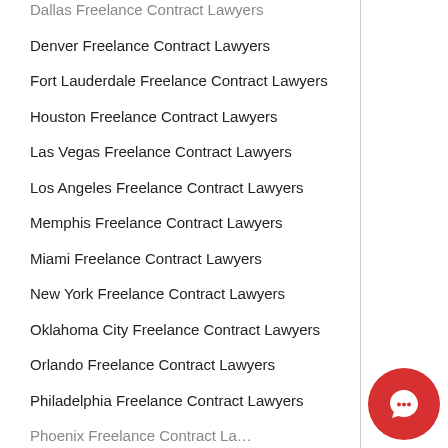Dallas Freelance Contract Lawyers
Denver Freelance Contract Lawyers
Fort Lauderdale Freelance Contract Lawyers
Houston Freelance Contract Lawyers
Las Vegas Freelance Contract Lawyers
Los Angeles Freelance Contract Lawyers
Memphis Freelance Contract Lawyers
Miami Freelance Contract Lawyers
New York Freelance Contract Lawyers
Oklahoma City Freelance Contract Lawyers
Orlando Freelance Contract Lawyers
Philadelphia Freelance Contract Lawyers
Phoenix Freelance Contract Lawyers